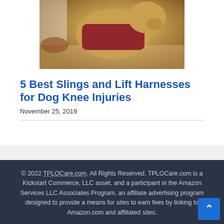[Figure (photo): Dog wearing a dark red/maroon lift harness or sling around its torso, standing indoors. The dog appears to be a golden/yellow Labrador-type breed.]
5 Best Slings and Lift Harnesses for Dog Knee Injuries
November 25, 2019
© 2022 TPLOCare.com. All Rights Reserved. TPLOCare.com is a Kickstart Commerce, LLC asset, and a participant in the Amazon Services LLC Associates Program, an affiliate advertising program designed to provide a means for sites to earn fees by linking to Amazon.com and affiliated sites. Privacy Policy  Contact